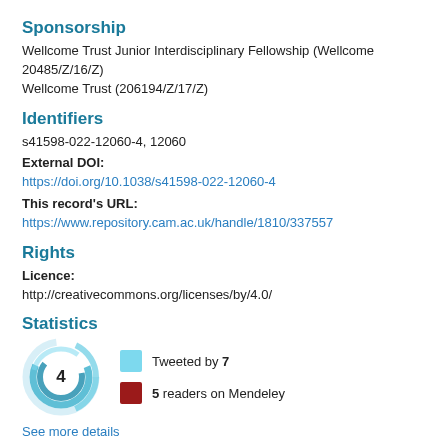Sponsorship
Wellcome Trust Junior Interdisciplinary Fellowship (Wellcome 20485/Z/16/Z)
Wellcome Trust (206194/Z/17/Z)
Identifiers
s41598-022-12060-4, 12060
External DOI:
https://doi.org/10.1038/s41598-022-12060-4
This record's URL:
https://www.repository.cam.ac.uk/handle/1810/337557
Rights
Licence:
http://creativecommons.org/licenses/by/4.0/
Statistics
[Figure (infographic): Altmetric donut chart showing score of 4, with legend: Tweeted by 7, 5 readers on Mendeley]
See more details